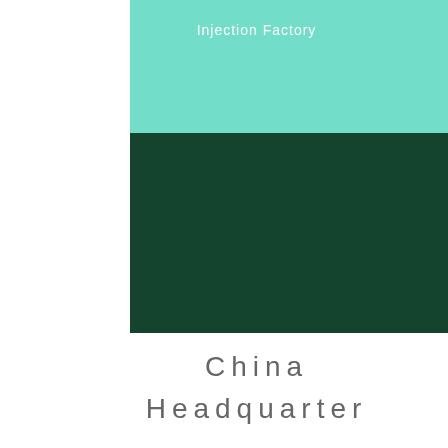Injection Factory
[Figure (illustration): Two colored rectangular blocks stacked: top is mint/teal green, bottom is dark forest green]
China Headquarter